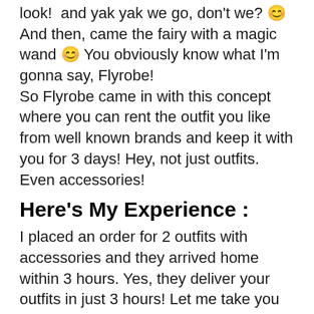look! and yak yak we go, don't we? 😊 And then, came the fairy with a magic wand 😊 You obviously know what I'm gonna say, Flyrobe! So Flyrobe came in with this concept where you can rent the outfit you like from well known brands and keep it with you for 3 days! Hey, not just outfits. Even accessories!
Here's My Experience :
I placed an order for 2 outfits with accessories and they arrived home within 3 hours. Yes, they deliver your outfits in just 3 hours! Let me take you through the two looks.
1.
The look 1 :